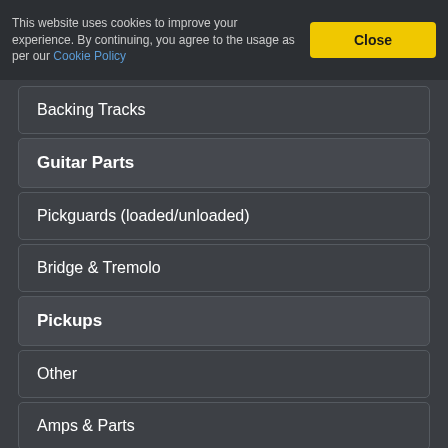This website uses cookies to improve your experience. By continuing, you agree to the usage as per our Cookie Policy
Backing Tracks
Guitar Parts
Pickguards (loaded/unloaded)
Bridge & Tremolo
Pickups
Other
Amps & Parts
Effects
Misc hardware